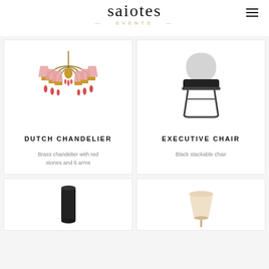[Figure (logo): Saiotes Events logo with stylized text and decorative dot above 's', with 'EVENTS' text below in spaced gold letters]
[Figure (photo): Dutch chandelier: brass chandelier with pink lampshades, red crystal drops, and 6 ornate arms]
DUTCH CHANDELIER
Brass chandelier with red stones and 6 arms
[Figure (photo): Executive chair: black stackable chair with gray rounded back and metal sled base]
EXECUTIVE CHAIR
Black stackable chair
[Figure (photo): Partial view of a black cylindrical lamp at bottom left]
[Figure (photo): Partial view of a floor lamp with cream shade at bottom right]